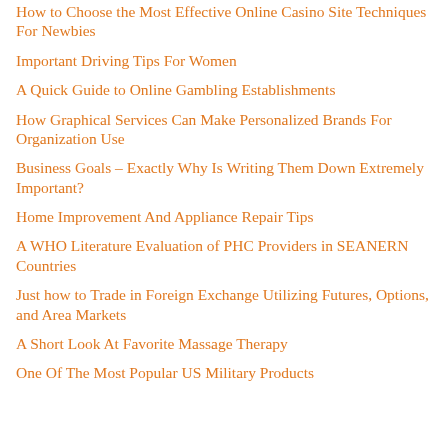How to Choose the Most Effective Online Casino Site Techniques For Newbies
Important Driving Tips For Women
A Quick Guide to Online Gambling Establishments
How Graphical Services Can Make Personalized Brands For Organization Use
Business Goals – Exactly Why Is Writing Them Down Extremely Important?
Home Improvement And Appliance Repair Tips
A WHO Literature Evaluation of PHC Providers in SEANERN Countries
Just how to Trade in Foreign Exchange Utilizing Futures, Options, and Area Markets
A Short Look At Favorite Massage Therapy
One Of The Most Popular US Military Products